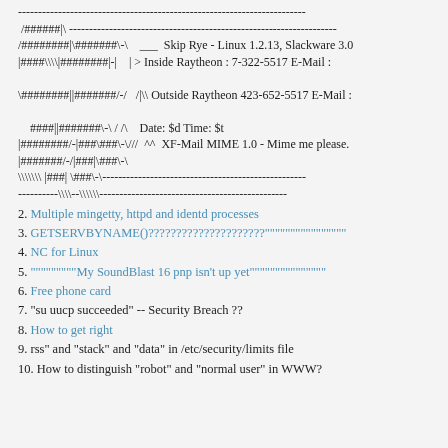------------------------------------------------------------------------
 /######|\ -------------------------------------------------------------------
/########|\#######\-\    ___  Skip Rye - Linux 1.2.13, Slackware 3.0
|####\\\\|########|-|    | > Inside Raytheon : 7-322-5517 E-Mail :

\########||#######/-/   /|\\ Outside Raytheon 423-652-5517 E-Mail :

    ####||#######\-\ / /\    Date: $d Time: $t
|########/-|###\###\-\///  /\^  XF-Mail MIME 1.0 - Mime me please.
|#######/-/|###|\###\-\
\\\\\\\ |###| \###\-\---------------------------------------------------
----------\\\\--\\\\\\-----------------------------------------------
2. Multiple mingetty, httpd and identd processes
3. GETSERVBYNAME()?????????????????????""""""""""""""""
4. NC for Linux
5. """""""""My SoundBlast 16 pnp isn't up yet"""""""""""""""
6. Free phone card
7. "su uucp succeeded" -- Security Breach ??
8. How to get right
9. rss" and "stack" and "data" in /etc/security/limits file
10. How to distinguish "robot" and "normal user" in WWW?